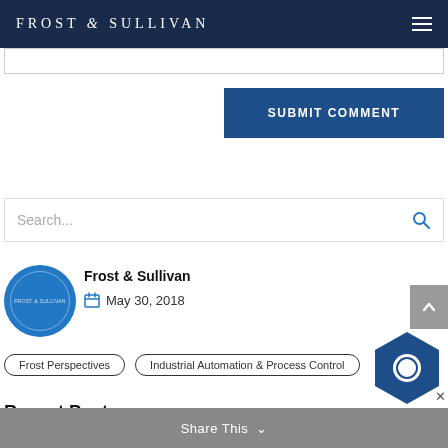FROST & SULLIVAN
[Figure (other): Input text field (comment box bottom border)]
SUBMIT COMMENT
[Figure (other): Search bar with placeholder text 'Search...' and search icon]
[Figure (other): Frost & Sullivan circular logo in blue]
Frost & Sullivan
May 30, 2018
Frost Perspectives
Industrial Automation & Process Control
Recent Posts
Share This